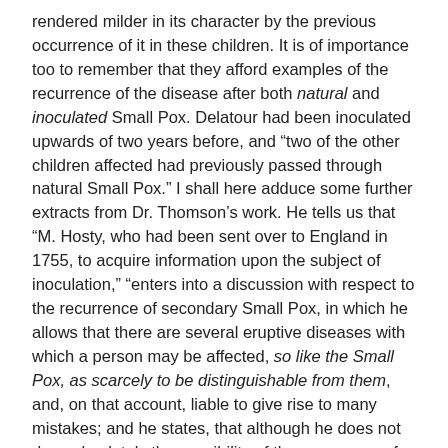rendered milder in its character by the previous occurrence of it in these children. It is of importance too to remember that they afford examples of the recurrence of the disease after both natural and inoculated Small Pox. Delatour had been inoculated upwards of two years before, and "two of the other children affected had previously passed through natural Small Pox." I shall here adduce some further extracts from Dr. Thomson's work. He tells us that "M. Hosty, who had been sent over to England in 1755, to acquire information upon the subject of inoculation," "enters into a discussion with respect to the recurrence of secondary Small Pox, in which he allows that there are several eruptive diseases with which a person may be affected, so like the Small Pox, as scarcely to be distinguishable from them, and, on that account, liable to give rise to many mistakes; and he states, that although he does not deny absolutely the possibility of the recurrence of Small Pox, he believes this to be rare," (p. 55-6). "To Hosty's opinion, with regard to the unfrequency of the occurrence of secondary Small Pox, Gaulard